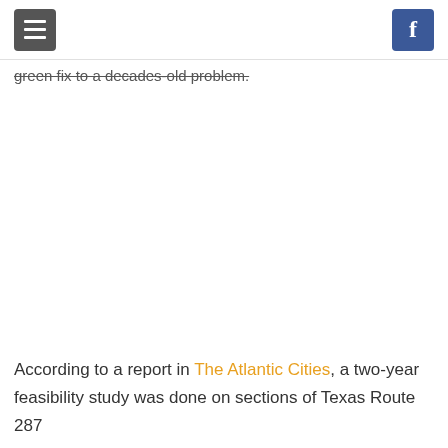[menu icon] [facebook icon]
green fix to a decades-old problem.
According to a report in The Atlantic Cities, a two-year feasibility study was done on sections of Texas Route 287